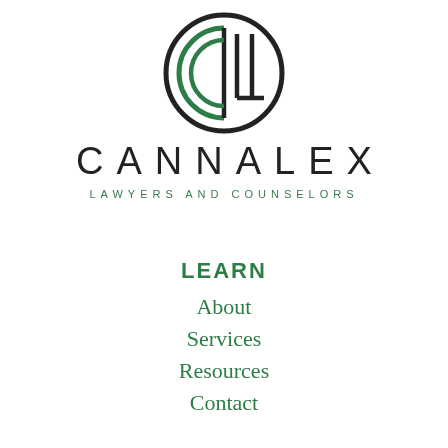[Figure (logo): Circular logo with stylized 'CCL' letters inside a black circle, with green inner arc. Law firm logo for Cannalex.]
CANNALEX
LAWYERS AND COUNSELORS
LEARN
About
Services
Resources
Contact